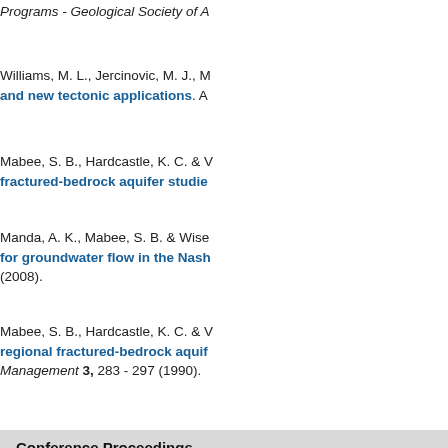Programs - Geological Society of A…
Williams, M. L., Jercinovic, M. J., … and new tectonic applications. A…
Mabee, S. B., Hardcastle, K. C. & … fractured-bedrock aquifer studie…
Manda, A. K., Mabee, S. B. & Wise… for groundwater flow in the Nash… (2008).
Mabee, S. B., Hardcastle, K. C. & … regional fractured-bedrock aquif… Management 3, 283 - 297 (1990).
Conference Proceedings
Venti, N. L. et al. Subtle modificat… passing summer storms. Abstra…
Mabee, S. B., Woodruff, J. D., Fell… Watershed, western Massachuse…
Mabee, S. B., Hardcastle, K. C. &…